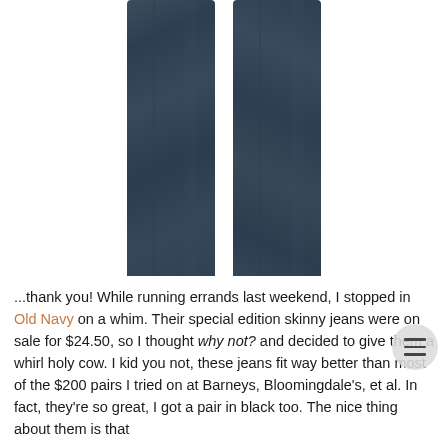[Figure (photo): Photo of a pair of dark navy/indigo skinny jeans laid flat, showing just the two pant legs from approximately knee to hem against a white background.]
...thank you! While running errands last weekend, I stopped in Old Navy on a whim. Their special edition skinny jeans were on sale for $24.50, so I thought why not? and decided to give them a whirl holy cow. I kid you not, these jeans fit way better than most of the $200 pairs I tried on at Barneys, Bloomingdale's, et al. In fact, they're so great, I got a pair in black too. The nice thing about them is that